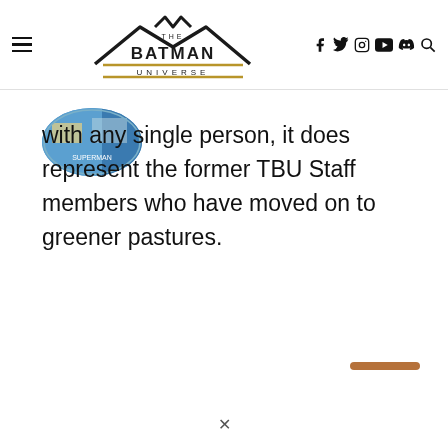The Batman Universe — navigation bar with hamburger menu, logo, social icons (f, twitter, instagram, youtube, discord, search)
[Figure (photo): Small circular avatar/profile image thumbnail, partially visible, showing a colorful graphic]
with any single person, it does represent the former TBU Staff members who have moved on to greener pastures.